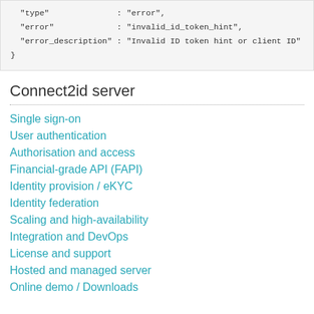"type" : "error",
"error" : "invalid_id_token_hint",
"error_description" : "Invalid ID token hint or client ID"
}
Connect2id server
Single sign-on
User authentication
Authorisation and access
Financial-grade API (FAPI)
Identity provision / eKYC
Identity federation
Scaling and high-availability
Integration and DevOps
License and support
Hosted and managed server
Online demo / Downloads